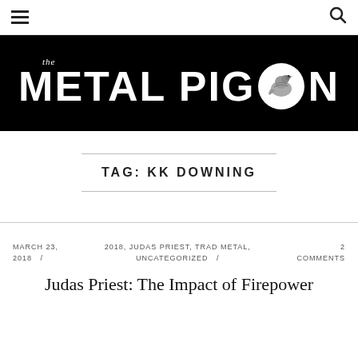☰  🔍
[Figure (logo): The Metal Pigeon logo: white bold text on black background with a pigeon illustration in a white circle]
TAG: KK DOWNING
MARCH 23, 2018  /  2018, JUDAS PRIEST, TRAD METAL, UNCATEGORIZED  /  2 COMMENTS
Judas Priest: The Impact of Firepower